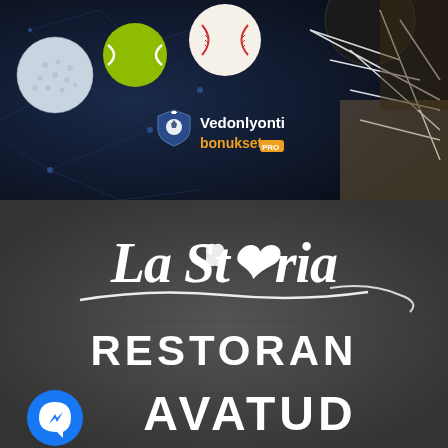[Figure (photo): Sports betting advertisement with various sports balls (golf ball, tennis ball, baseball, basketball) on a dark navy blue background with geometric lines. Center shows a shield logo with the text 'Vedonlyonti bonukset' in white and gold. Right side shows a basketball net.]
[Figure (photo): Restaurant advertisement on dark gray stone/slate background. White decorative script text reads 'La Storia' with a swirl underline decoration. Below in large white sans-serif uppercase text: 'RESTORAN AVATUD'. A blue Facebook Messenger icon is visible in the bottom left corner.]